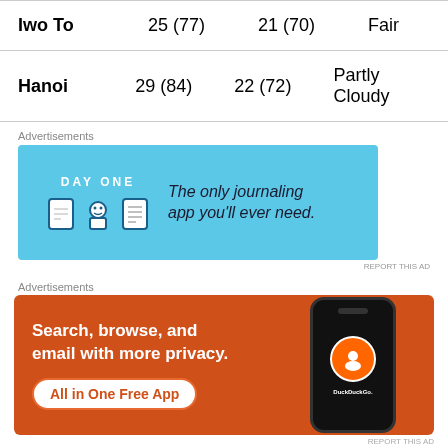| City | Hi | Lo | Condition |
| --- | --- | --- | --- |
| Iwo To | 25 (77) | 21 (70) | Fair |
| Hanoi | 29 (84) | 22 (72) | Partly Cloudy |
[Figure (other): Day One app advertisement — light blue banner with DAY ONE logo and icons, text: The only journaling app you'll ever need.]
SOUTH
Dangerous heat has once again set up over the south...
[Figure (other): DuckDuckGo advertisement — orange banner with phone graphic, text: Search, browse, and email with more privacy. All in One Free App. DuckDuckGo.]